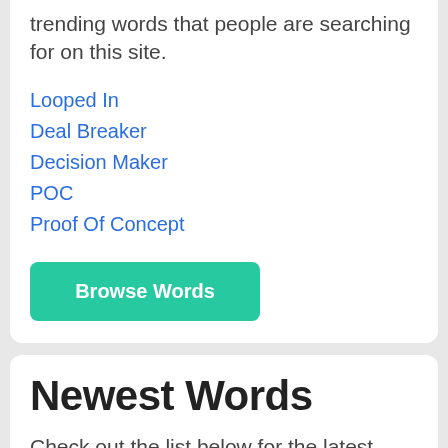trending words that people are searching for on this site.
Looped In
Deal Breaker
Decision Maker
POC
Proof Of Concept
Browse Words
Newest Words
Check out the list below for the latest words and phrases